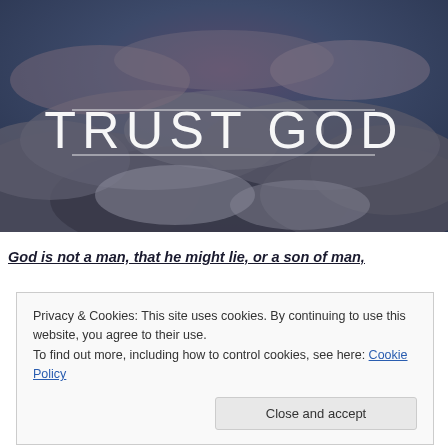[Figure (photo): Dramatic cloud sky photograph with 'TRUST GOD' text overlay in large white serif letters, framed by two thin white horizontal lines above and below the text]
God is not a man, that he might lie, or a son of man,
Privacy & Cookies: This site uses cookies. By continuing to use this website, you agree to their use.
To find out more, including how to control cookies, see here: Cookie Policy
Close and accept